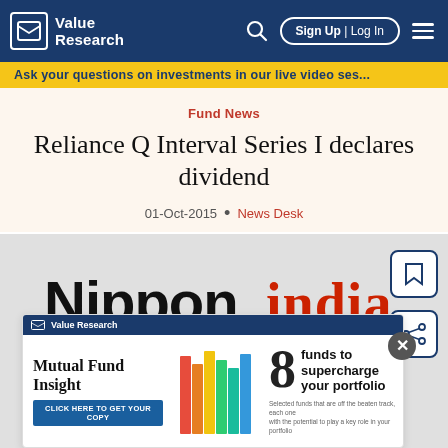Value Research — Sign Up | Log In
Ask your questions on investments in our live video ses...
Fund News
Reliance Q Interval Series I declares dividend
01-Oct-2015 • News Desk
[Figure (logo): Nippon India mutual fund logo with Value Research advertisement overlay showing Mutual Fund Insight magazine promotion — 8 funds to supercharge your portfolio]
Mutual Fund Insight — 8 funds to supercharge your portfolio. CLICK HERE TO GET YOUR COPY